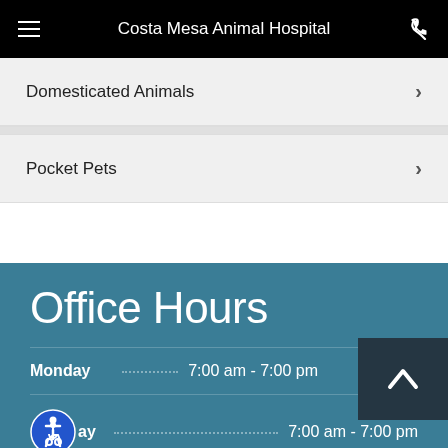Costa Mesa Animal Hospital
Domesticated Animals
Pocket Pets
Office Hours
Monday  7:00 am - 7:00 pm
Tuesday (partial)  7:00 am - 7:00 pm